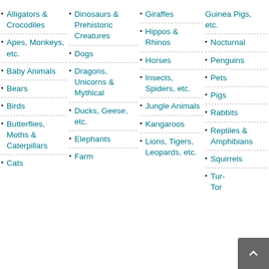Alligators & Crocodiles
Apes, Monkeys, etc.
Baby Animals
Bears
Birds
Butterflies, Moths & Caterpillars
Cats
Dinosaurs & Prehistoric Creatures
Dogs
Dragons, Unicorns & Mythical
Ducks, Geese, etc.
Elephants
Farm
Giraffes
Hippos & Rhinos
Horses
Insects, Spiders, etc.
Jungle Animals
Kangaroos
Lions, Tigers, Leopards, etc.
Guinea Pigs, etc.
Nocturnal
Penguins
Pets
Pigs
Rabbits
Reptiles & Amphibians
Squirrels
Turtles, Tortoises